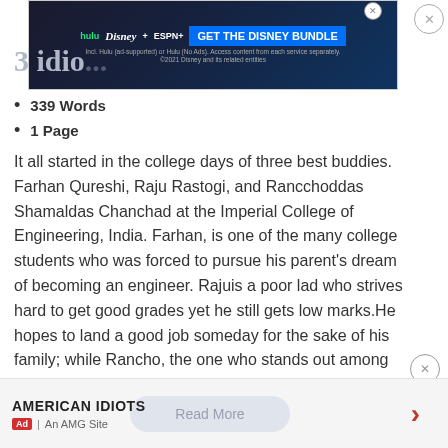[Figure (screenshot): Disney Bundle advertisement banner with Hulu, Disney+, ESPN+ logos and 'GET THE DISNEY BUNDLE' button]
3 idio...
339 Words
1 Page
It all started in the college days of three best buddies. Farhan Qureshi, Raju Rastogi, and Rancchoddas Shamaldas Chanchad at the Imperial College of Engineering, India. Farhan, is one of the many college students who was forced to pursue his parent's dream of becoming an engineer. Rajuis a poor lad who strives hard to get good grades yet he still gets low marks.He hopes to land a good job someday for the sake of his family; while Rancho, the one who stands out among the crowd, studies engineering.
AMERICAN IDIOTS | Ad | An AMG Site